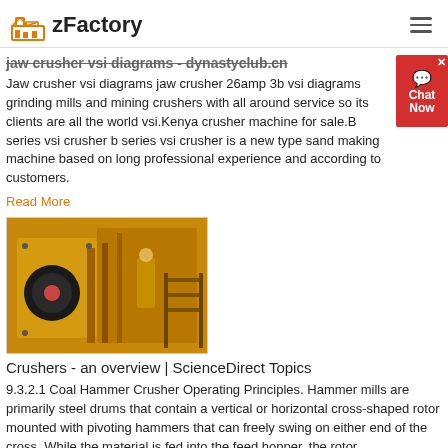zFactory
jaw crusher vsi diagrams - dynastyclub.cn
Jaw crusher vsi diagrams jaw crusher 26amp 3b vsi diagrams grinding mills and mining crushers with all around service so its clients are all the world vsi.Kenya crusher machine for sale.B series vsi crusher b series vsi crusher is a new type sand making machine based on long professional experience and according to customers.
Read More
[Figure (photo): Yellow industrial jaw crusher machine with a worker visible in the background]
Crushers - an overview | ScienceDirect Topics
9.3.2.1 Coal Hammer Crusher Operating Principles. Hammer mills are primarily steel drums that contain a vertical or horizontal cross-shaped rotor mounted with pivoting hammers that can freely swing on either end of the cross. While the material is fed into the feed hopper, the rotor